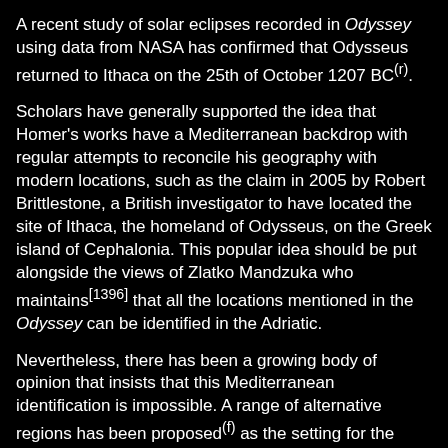A recent study of solar eclipses recorded in Odyssey using data from NASA has confirmed that Odysseus returned to Ithaca on the 25th of October 1207 BC(r).
Scholars have generally supported the idea that Homer's works have a Mediterranean backdrop with regular attempts to reconcile his geography with modern locations, such as the claim in 2005 by Robert Brittlestone, a British investigator to have located the site of Ithaca, the homeland of Odysseus, on the Greek island of Cephalonia. This popular idea should be put alongside the views of Zlatko Mandzuka who maintains[1396] that all the locations mentioned in the Odyssey can be identified in the Adriatic.
Nevertheless, there has been a growing body of opinion that insists that this Mediterranean identification is impossible. A range of alternative regions has been proposed(f) as the setting for the epics, which extend from Portugal as far northward as the Baltic.
In his Odyssey (VII: 80), Homer wrote about the island of Scheria in the western sea. His description of the island has been compared with Plato's description of Atlantis and